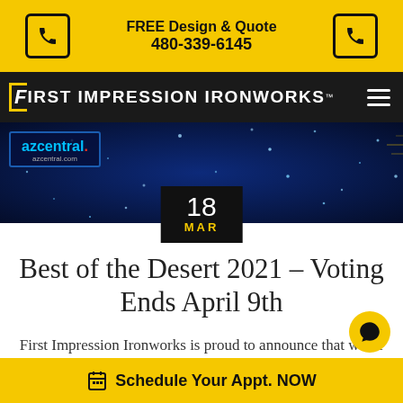FREE Design & Quote
480-339-6145
[Figure (logo): First Impression Ironworks logo on black navigation bar with hamburger menu icon]
[Figure (photo): Blue sparkle/bokeh background with azcentral.com logo box on left and date badge showing 18 MAR in bottom center]
Best of the Desert 2021 – Voting Ends April 9th
First Impression Ironworks is proud to announce that we've been nominated as a finalist for another prestigious award for excellence [...]
Schedule Your Appt. NOW